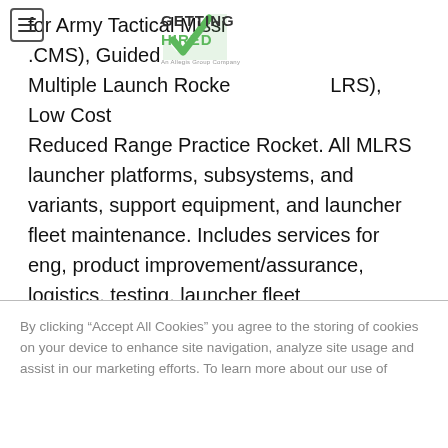[Figure (logo): Getting Hired logo - green checkmark with 'GETTING HIRED' text, An Allegis Group Company]
for Army Tactical Missile System (ATACMS), Guided Multiple Launch Rocket System (GMLRS), Low Cost Reduced Range Practice Rocket. All MLRS launcher platforms, subsystems, and variants, support equipment, and launcher fleet maintenance. Includes services for eng, product improvement/assurance, logistics, testing, launcher fleet maintenance, SW upgrade, CM / DM for the performance, safety, reliability, and maintainability of all families and variants of HW and SW.
The U.S. Army and Foreign Customers have a requirement for IES for programs under the STORM PO related to the Multiple Launch Rocket System (MLRS) Family of Munitions (MFOM). These programs include:
By clicking “Accept All Cookies” you agree to the storing of cookies on your device to enhance site navigation, analyze site usage and assist in our marketing efforts. To learn more about our use of